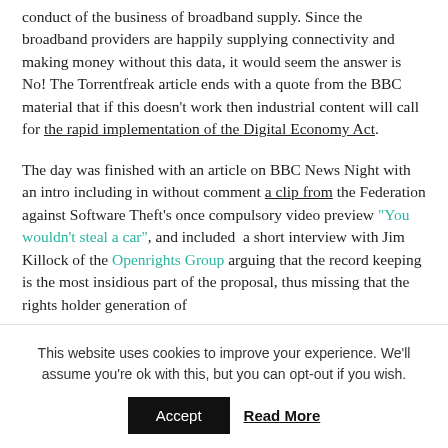conduct of the business of broadband supply. Since the broadband providers are happily supplying connectivity and making money without this data, it would seem the answer is No! The Torrentfreak article ends with a quote from the BBC material that if this doesn't work then industrial content will call for the rapid implementation of the Digital Economy Act.
The day was finished with an article on BBC News Night with an intro including in without comment a clip from the Federation against Software Theft's once compulsory video preview "You wouldn't steal a car", and included a short interview with Jim Killock of the Openrights Group arguing that the record keeping is the most insidious part of the proposal, thus missing that the rights holder generation of
This website uses cookies to improve your experience. We'll assume you're ok with this, but you can opt-out if you wish.
Accept  Read More